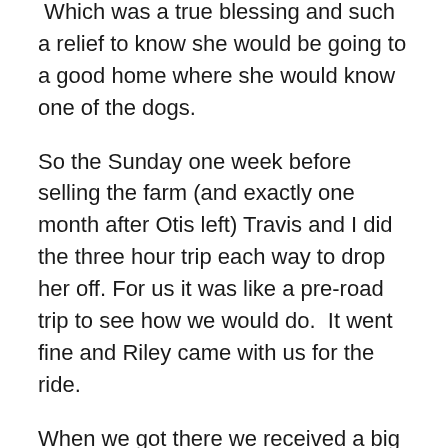Otis' new owners agreed to take her on as their own. Which was a true blessing and such a relief to know she would be going to a good home where she would know one of the dogs.
So the Sunday one week before selling the farm (and exactly one month after Otis left) Travis and I did the three hour trip each way to drop her off. For us it was like a pre-road trip to see how we would do.  It went fine and Riley came with us for the ride.
When we got there we received a big welcome and met Piper's other furry family members.  It was so good to see Otis. It was the first time I every had the opportunity to see any of my foster's in their new home.  He looked so good and happy.
We checked out their back yard and I snapped some